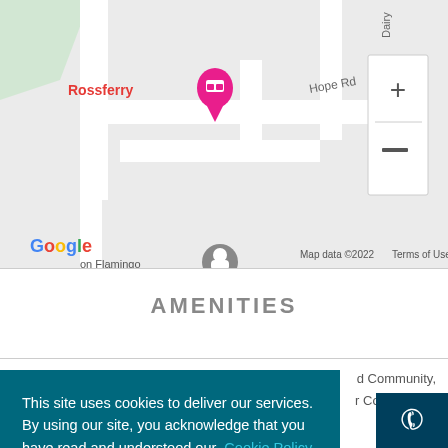[Figure (map): Google Maps screenshot showing Rossferry location marker (pink) near Hope Rd, with street roads, Google logo, Map data ©2022, Terms of Use, and zoom controls (+/-)]
AMENITIES
d Community,
r Conditioned,
This site uses cookies to deliver our services. By using our site, you acknowledge that you have read and understood our Cookie Policy , Privacy Policy and our Terms and Conditions . Your use of this website is subject to these policies and terms.
Got it!